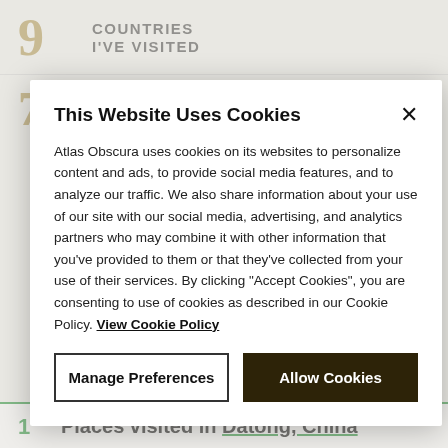9 COUNTRIES I'VE VISITED
74 PLACES
This Website Uses Cookies
Atlas Obscura uses cookies on its websites to personalize content and ads, to provide social media features, and to analyze our traffic. We also share information about your use of our site with our social media, advertising, and analytics partners who may combine it with other information that you've provided to them or that they've collected from your use of their services. By clicking "Accept Cookies", you are consenting to use of cookies as described in our Cookie Policy. View Cookie Policy
Manage Preferences
Allow Cookies
1ST Places visited in Datong, China